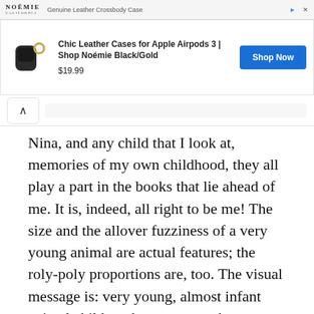[Figure (screenshot): Advertisement banner for Noémie Genuine Leather Crossbody Case at top of page]
[Figure (screenshot): Advertisement banner: Chic Leather Cases for Apple Airpods 3 | Shop Noémie Black/Gold, $19.99, Shop Now button]
[Figure (screenshot): Browser navigation bar with back chevron button]
Nina, and any child that I look at, memories of my own childhood, they all play a part in the books that lie ahead of me. It is, indeed, all right to be me! The size and the allover fuzziness of a very young animal are actual features; the roly-poly proportions are, too. The visual message is: very young, almost infant animal child . . . however, another translation is "cute." The latter is never my intention when I draw; is simply a part of